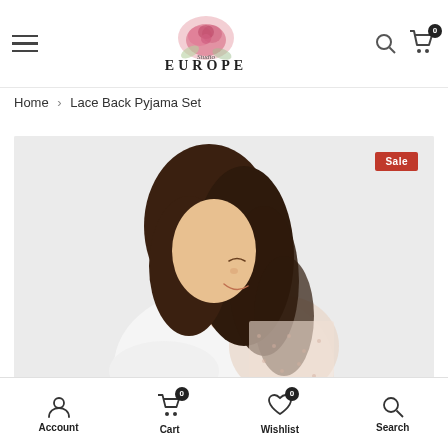Studio Europe — navigation header with hamburger menu, logo, search and cart icons
Home > Lace Back Pyjama Set
[Figure (photo): Woman wearing a white and lace-back pyjama top, smiling and looking down, against a light grey background. A red 'Sale' badge is visible in the top-right corner.]
Account | Cart 0 | Wishlist 0 | Search